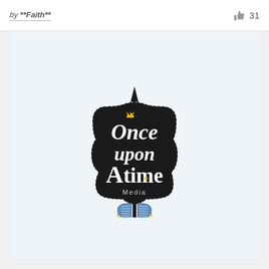by **Faith**
31
[Figure (logo): Once Upon A Time Media logo: dark rounded square badge shape with dotted border and a spike at top, containing stylized text 'Once upon A time' in white/cream fairy-tale font with a small golden crown above the 'O', and 'Media' in small text below, with an open book illustration at the bottom in blue and gold.]